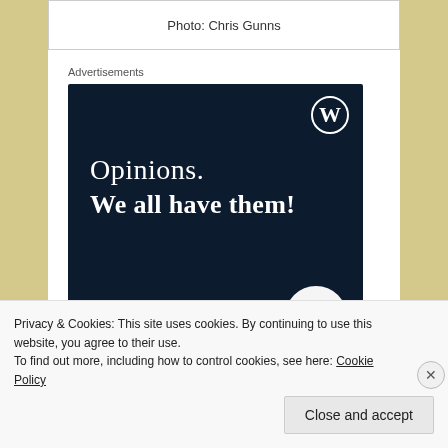Photo: Chris Gunns
Advertisements
[Figure (illustration): WordPress advertisement banner with dark navy background. Shows WordPress logo (W in circle) top right. Text: 'Opinions. We all have them!' with a pink 'Start a survey' button and Crowdsignal logo circle at bottom right.]
Privacy & Cookies: This site uses cookies. By continuing to use this website, you agree to their use.
To find out more, including how to control cookies, see here: Cookie Policy
Close and accept